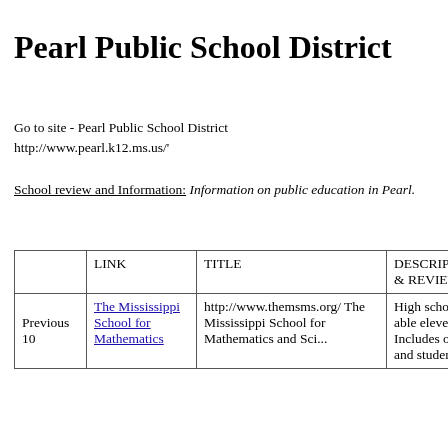Pearl Public School District
Go to site - Pearl Public School District
http://www.pearl.k12.ms.us/'
School review and Information: Information on public education in Pearl.
|  | LINK | TITLE | DESCRIPTION & REVIEW |
| --- | --- | --- | --- |
| Previous 10 ... | The Mississippi School for Mathematics... | http://www.themsms.org/ The Mississippi School for Mathematics and Sci... | High school for gifted and academically able eleventh and twelfth grade students. Includes office of the director, academic and student affairs, computing... |